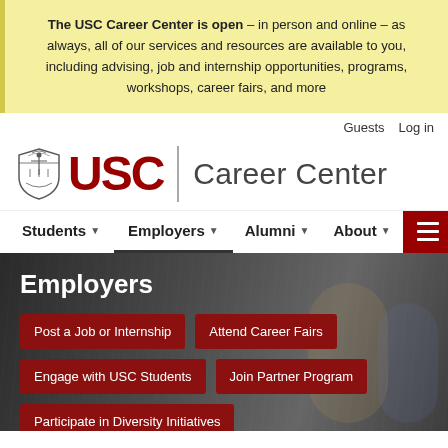The USC Career Center is open – in person and online – as always, all of our services and resources are available to you, including advising, job and internship opportunities, programs, workshops, career fairs, and more
Guests  Log in
[Figure (logo): USC shield logo with USC text in dark red and Career Center text, separated by a vertical divider line]
Students  Employers  Alumni  About
Employers
Post a Job or Internship
Attend Career Fairs
Engage with USC Students
Join Partner Program
Participate in Diversity Initiatives